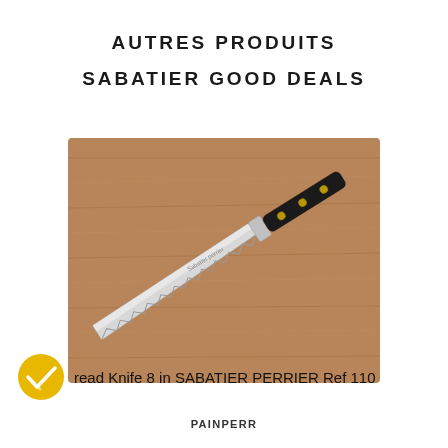AUTRES PRODUITS SABATIER GOOD DEALS
[Figure (photo): A Sabatier Perrier bread knife with a serrated blade resting diagonally on a wooden cutting board. The knife has a black handle with three gold rivets and a silver bolster.]
Bread Knife 8 in SABATIER PERRIER Ref 110
PAINPERR